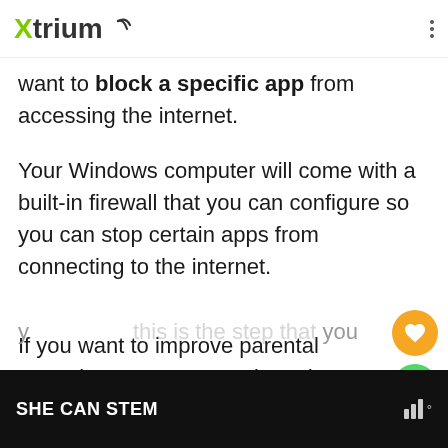Xtrium
want to block a specific app from accessing the internet.
Your Windows computer will come with a built-in firewall that you can configure so you can stop certain apps from connecting to the internet.
If you want to improve parental controls or stop automatic updates o...
SHE CAN STEM